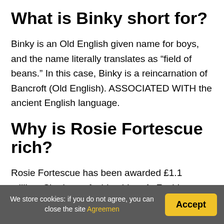What is Binky short for?
Binky is an Old English given name for boys, and the name literally translates as “field of beans.” In this case, Binky is a reincarnation of Bancroft (Old English). ASSOCIATED WITH the ancient English language.
Why is Rosie Fortescue rich?
Rosie Fortescue has been awarded £1.1 million. She has a fashion blog, At Fashion Forte, and she also
We store cookies: if you do not agree, you can close the site Agreemen
Accept